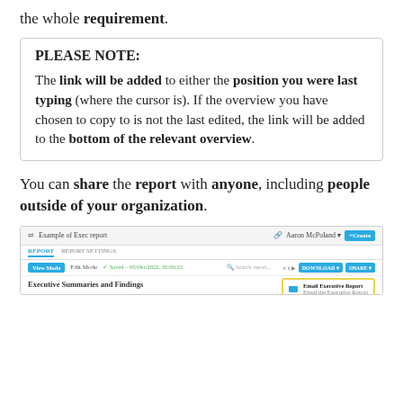the whole requirement.
PLEASE NOTE:

The link will be added to either the position you were last typing (where the cursor is). If the overview you have chosen to copy to is not the last edited, the link will be added to the bottom of the relevant overview.
You can share the report with anyone, including people outside of your organization.
[Figure (screenshot): Screenshot of a report interface showing 'Example of Exec report' at top, tabs for REPORT and REPORT SETTINGS, a toolbar with View Mode, Edit Mode, Save status, Search, Download and Share buttons, and a dropdown showing 'Email Executive Report' option highlighted with yellow border.]